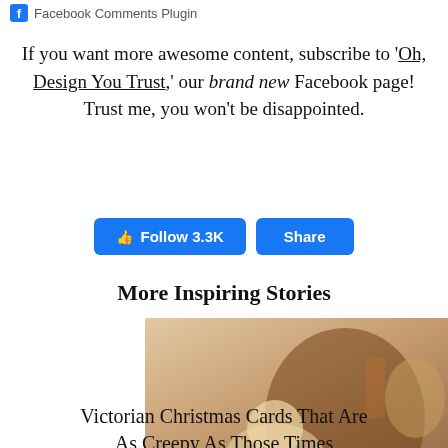Facebook Comments Plugin
If you want more awesome content, subscribe to 'Oh, Design You Trust,' our brand new Facebook page! Trust me, you won't be disappointed.
[Figure (other): Follow 3.3K and Share buttons (Facebook blue buttons)]
More Inspiring Stories
[Figure (photo): Two vintage/Victorian illustration images side by side: left shows Krampus with children (Gruss vom Krampus), right shows a creepy Victorian figure in top hat holding a heart-shaped object]
Victorian Christmas Cards That Are As Creepy As Those Times